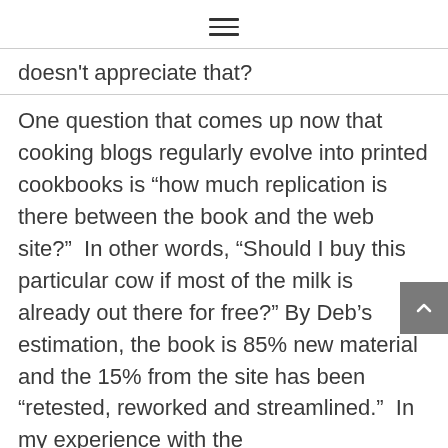≡
doesn't appreciate that?
One question that comes up now that cooking blogs regularly evolve into printed cookbooks is “how much replication is there between the book and the web site?”  In other words, “Should I buy this particular cow if most of the milk is already out there for free?”  By Deb’s estimation, the book is 85% new material and the 15% from the site has been “retested, reworked and streamlined.”  In my experience with the